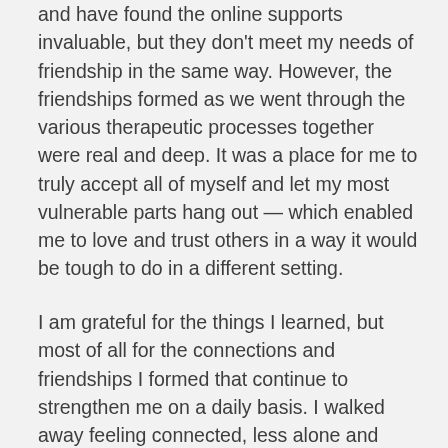and have found the online supports invaluable, but they don't meet my needs of friendship in the same way. However, the friendships formed as we went through the various therapeutic processes together were real and deep. It was a place for me to truly accept all of myself and let my most vulnerable parts hang out — which enabled me to love and trust others in a way it would be tough to do in a different setting.
I am grateful for the things I learned, but most of all for the connections and friendships I formed that continue to strengthen me on a daily basis. I walked away feeling connected, less alone and more hopeful and confident in my